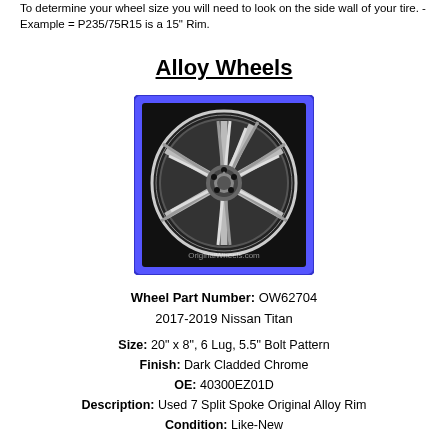To determine your wheel size you will need to look on the side wall of your tire. - Example = P235/75R15 is a 15" Rim.
Alloy Wheels
[Figure (photo): Chrome alloy wheel with 7 split spokes on black background, watermark: OriginalWheels.com, framed with blue border]
Wheel Part Number: OW62704
2017-2019 Nissan Titan
Size: 20" x 8", 6 Lug, 5.5" Bolt Pattern
Finish: Dark Cladded Chrome
OE: 40300EZ01D
Description: Used 7 Split Spoke Original Alloy Rim
Condition: Like-New